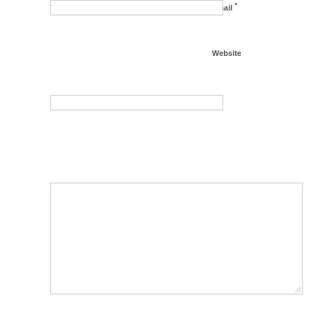Email *
[Figure (screenshot): Empty text input field for Email]
Website
[Figure (screenshot): Empty text input field for Website]
[Figure (screenshot): Large empty textarea for comment input]
Post Comment